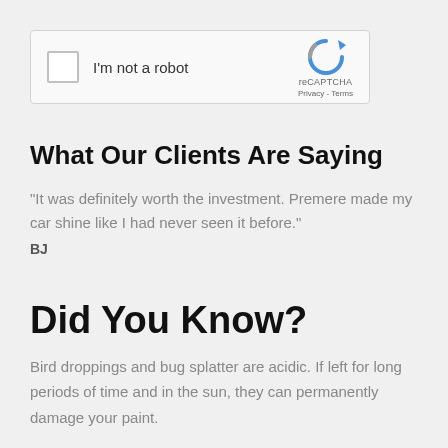[Figure (screenshot): reCAPTCHA widget with checkbox labeled 'I'm not a robot', reCAPTCHA logo, and Privacy - Terms links]
What Our Clients Are Saying
"It was definitely worth the investment. Premere made my car shine like I had never seen it before."
BJ
Did You Know?
Bird droppings and bug splatter are acidic. If left for long periods of time and in the sun, they can permanently damage your paint.